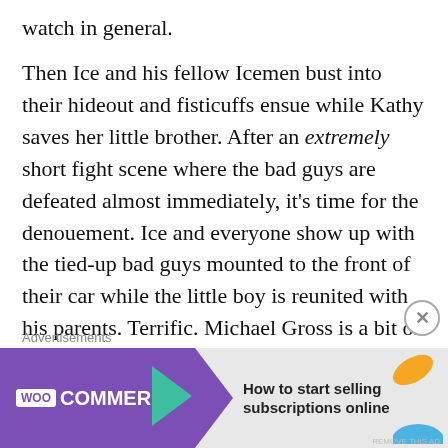watch in general.

Then Ice and his fellow Icemen bust into their hideout and fisticuffs ensue while Kathy saves her little brother. After an extremely short fight scene where the bad guys are defeated almost immediately, it's time for the denouement. Ice and everyone show up with the tied-up bad guys mounted to the front of their car while the little boy is reunited with his parents. Terrific. Michael Gross is a bit of a creep but also says Ice, I had you all wrong old sport. Then Kathy's mom and dad are like, you know that after this traumatic evening we're just going to let our daughter disappear into the night with this still complete
[Figure (other): WooCommerce advertisement banner: purple background with WooCommerce logo and arrow, text 'How to start selling subscriptions online', decorative orange and teal leaf shapes]